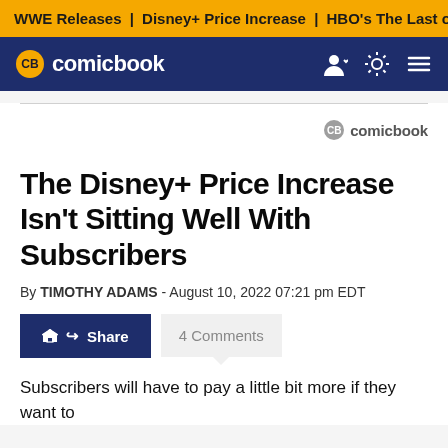WWE Releases | Disney+ Price Increase | HBO's The Last of
CB comicbook
[Figure (logo): Comicbook.com watermark logo with CB badge and 'comicbook' text]
The Disney+ Price Increase Isn't Sitting Well With Subscribers
By TIMOTHY ADAMS - August 10, 2022 07:21 pm EDT
Share | 4 Comments
Subscribers will have to pay a little bit more if they want to